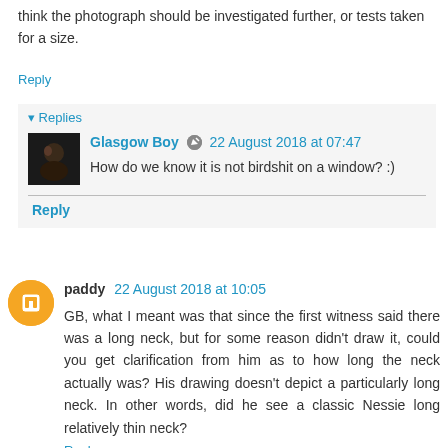think the photograph should be investigated further, or tests taken for a size.
Reply
Replies
Glasgow Boy  22 August 2018 at 07:47
How do we know it is not birdshit on a window? :)
Reply
paddy  22 August 2018 at 10:05
GB, what I meant was that since the first witness said there was a long neck, but for some reason didn't draw it, could you get clarification from him as to how long the neck actually was? His drawing doesn't depict a particularly long neck. In other words, did he see a classic Nessie long relatively thin neck?
Reply